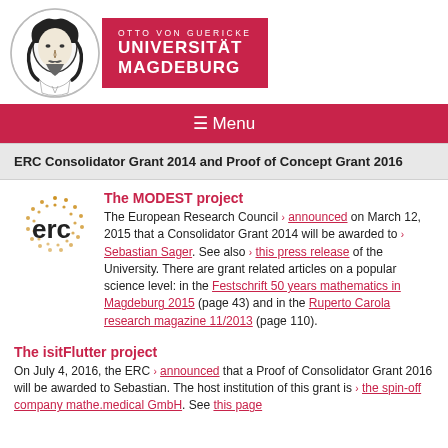[Figure (logo): Otto von Guericke Universität Magdeburg logo with circular portrait illustration and red text block]
≡ Menu
ERC Consolidator Grant 2014 and Proof of Concept Grant 2016
The MODEST project
[Figure (logo): ERC (European Research Council) circular dots logo with 'erc' text]
The European Research Council › announced on March 12, 2015 that a Consolidator Grant 2014 will be awarded to › Sebastian Sager. See also › this press release of the University. There are grant related articles on a popular science level: in the Festschrift 50 years mathematics in Magdeburg 2015 (page 43) and in the Ruperto Carola research magazine 11/2013 (page 110).
The isitFlutter project
On July 4, 2016, the ERC › announced that a Proof of Consolidator Grant 2016 will be awarded to Sebastian. The host institution of this grant is › the spin-off company mathe.medical GmbH. See this page